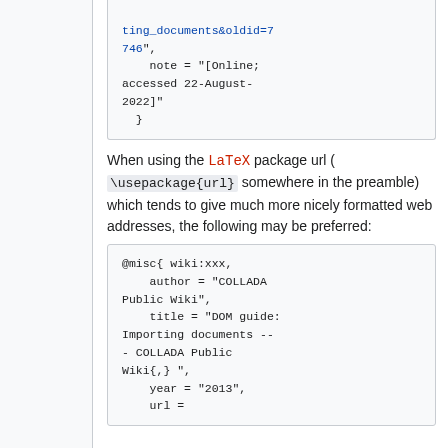ting_documents&oldid=7746",
    note = "[Online; accessed 22-August-2022]"
}
When using the LaTeX package url ( \usepackage{url} somewhere in the preamble) which tends to give much more nicely formatted web addresses, the following may be preferred:
@misc{ wiki:xxx,
    author = "COLLADA Public Wiki",
    title = "DOM guide: Importing documents --- COLLADA Public Wiki{,} ",
    year = "2013",
    url =